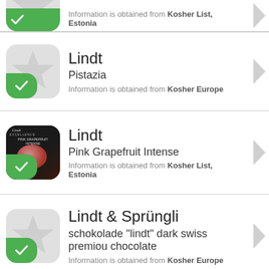Information is obtained from Kosher List, Estonia
Lindt
Pistazia
Information is obtained from Kosher Europe
Lindt
Pink Grapefruit Intense
Information is obtained from Kosher List, Estonia
Lindt & Sprüngli
schokolade "lindt" dark swiss premiou chocolate
Information is obtained from Kosher Europe
Lindt